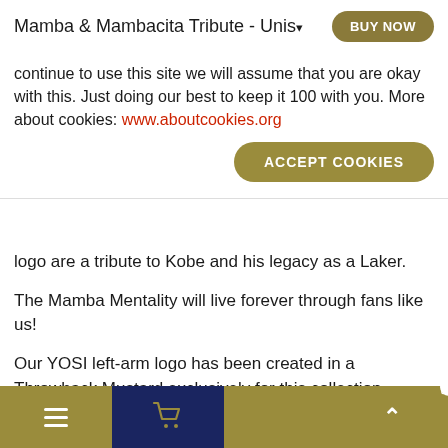Mamba & Mambacita Tribute - Unis. | BUY NOW
continue to use this site we will assume that you are okay with this. Just doing our best to keep it 100 with you. More about cookies: www.aboutcookies.org
ACCEPT COOKIES
logo are a tribute to Kobe and his legacy as a Laker.
The Mamba Mentality will live forever through fans like us!
Our YOSI left-arm logo has been created in a Throwback Mustard exclusively for this collection.
50% of Net Proceeds will be donated to the Mamba On Three Fund to help support the crash victims' families.
Go natural—order this t-shirt and enjoy the comfort of a
≡  [cart]  0  [basket]  ∧